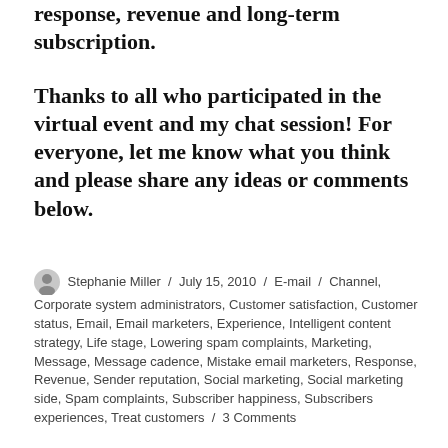response, revenue and long-term subscription.
Thanks to all who participated in the virtual event and my chat session! For everyone, let me know what you think and please share any ideas or comments below.
Stephanie Miller / July 15, 2010 / E-mail / Channel, Corporate system administrators, Customer satisfaction, Customer status, Email, Email marketers, Experience, Intelligent content strategy, Life stage, Lowering spam complaints, Marketing, Message, Message cadence, Mistake email marketers, Response, Revenue, Sender reputation, Social marketing, Social marketing side, Spam complaints, Subscriber happiness, Subscribers experiences, Treat customers / 3 Comments